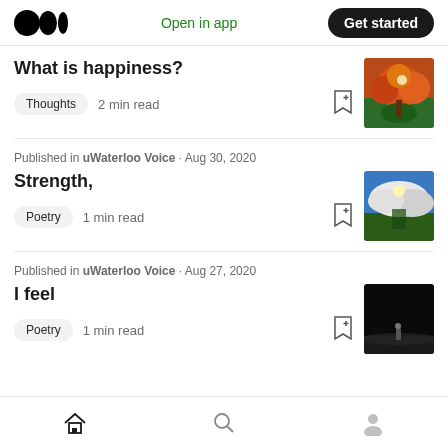Medium logo | Open in app | Get started
What is happiness?
Thoughts · 2 min read
Published in uWaterloo Voice · Aug 30, 2020
Strength,
Poetry · 1 min read
Published in uWaterloo Voice · Aug 27, 2020
I feel
Poetry · 1 min read
Home | Search | Profile